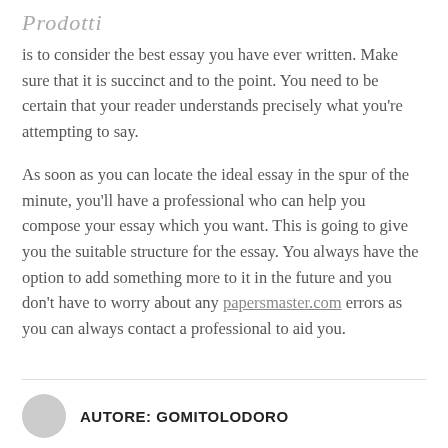Prodotti
is to consider the best essay you have ever written. Make sure that it is succinct and to the point. You need to be certain that your reader understands precisely what you're attempting to say.
As soon as you can locate the ideal essay in the spur of the minute, you'll have a professional who can help you compose your essay which you want. This is going to give you the suitable structure for the essay. You always have the option to add something more to it in the future and you don't have to worry about any papersmaster.com errors as you can always contact a professional to aid you.
AUTORE: GOMITOLODORO